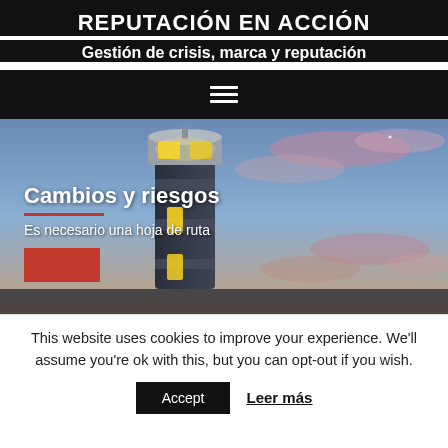REPUTACIÓN EN ACCIÓN
Gestión de crisis, marca y reputación
[Figure (illustration): A 3D rendered lighthouse with a glowing yellow light against a twilight sky with pink and blue clouds. Overlaid text reads 'Cambios y riesgos', 'Es necesario una hoja de ruta', and a partially visible red button.]
This website uses cookies to improve your experience. We'll assume you're ok with this, but you can opt-out if you wish.
Accept   Leer más